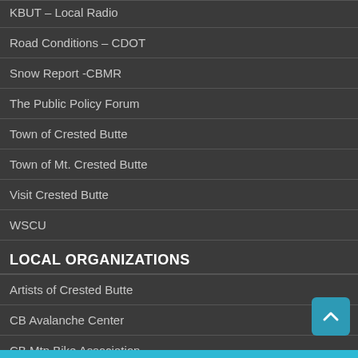KBUT – Local Radio
Road Conditions – CDOT
Snow Report -CBMR
The Public Policy Forum
Town of Crested Butte
Town of Mt. Crested Butte
Visit Crested Butte
WSCU
LOCAL ORGANIZATIONS
Artists of Crested Butte
CB Avalanche Center
CB Mtn Bike Association
CB Nordic Center